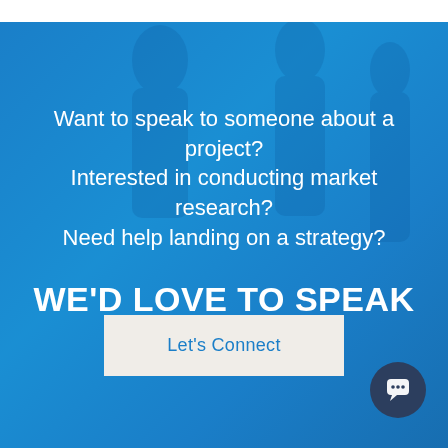Want to speak to someone about a project?
Interested in conducting market research?
Need help landing on a strategy?
WE'D LOVE TO SPEAK WITH YOU.
Let's Connect
[Figure (illustration): Chat bubble icon button at bottom right corner, circular dark navy background with white chat icon]